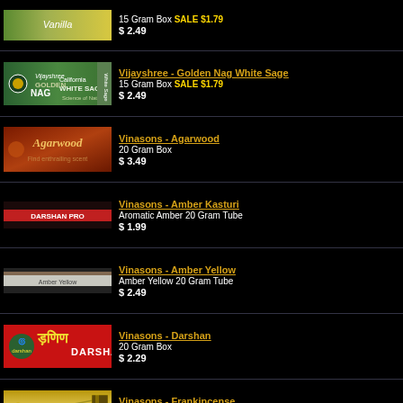Vijayshree - Golden Nag White Sage | 15 Gram Box SALE $1.79 | $ 2.49
Vinasons - Agarwood | 20 Gram Box | $ 3.49
Vinasons - Amber Kasturi | Aromatic Amber 20 Gram Tube | $ 1.99
Vinasons - Amber Yellow | Amber Yellow 20 Gram Tube | $ 2.49
Vinasons - Darshan | 20 Gram Box | $ 2.29
Vinasons - Frankincense | 20 Gram Box | $ 1.99